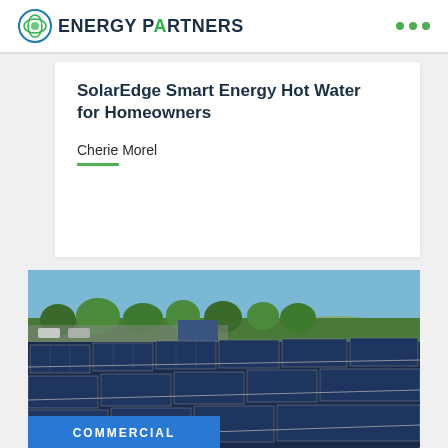ENERGY PARTNERS
SolarEdge Smart Energy Hot Water for Homeowners
Cherie Morel
[Figure (photo): Aerial view of commercial rooftop solar panels with trees and a road in the background. A blue banner at the bottom reads COMMERCIAL.]